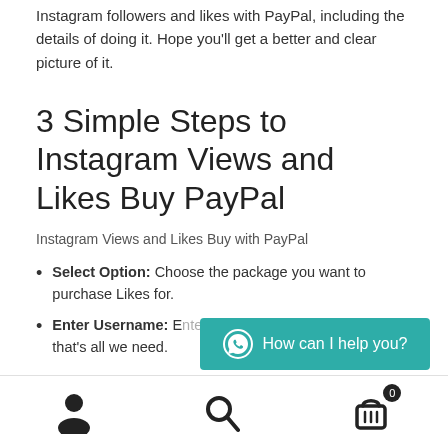Instagram followers and likes with PayPal, including the details of doing it. Hope you'll get a better and clear picture of it.
3 Simple Steps to Instagram Views and Likes Buy PayPal
Instagram Views and Likes Buy with PayPal
Select Option: Choose the package you want to purchase Likes for.
Enter Username: E… that's all we need.
[Figure (infographic): WhatsApp chat widget button with teal background reading 'How can I help you?']
[Figure (infographic): Bottom navigation bar with user icon, search icon, and cart icon with badge showing 0]